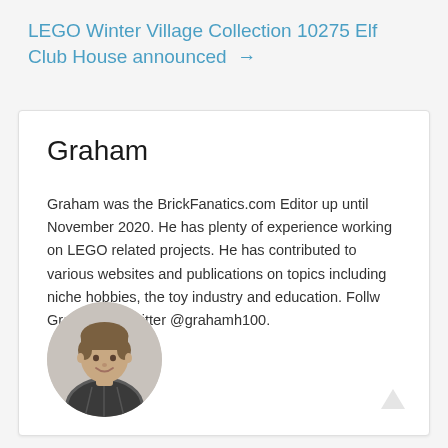LEGO Winter Village Collection 10275 Elf Club House announced →
Graham
Graham was the BrickFanatics.com Editor up until November 2020. He has plenty of experience working on LEGO related projects. He has contributed to various websites and publications on topics including niche hobbies, the toy industry and education. Follw Graham on Twitter @grahamh100.
[Figure (photo): Circular profile photo of Graham, a young man with short brown hair wearing a plaid shirt, smiling]